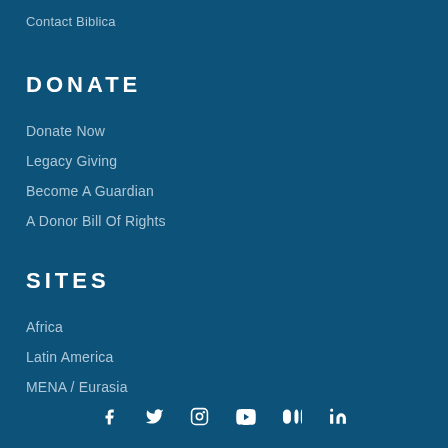Contact Biblica
DONATE
Donate Now
Legacy Giving
Become A Guardian
A Donor Bill Of Rights
SITES
Africa
Latin America
MENA / Eurasia
[Figure (infographic): Social media icons row: Facebook, Twitter, Instagram, YouTube, Vimeo, LinkedIn]